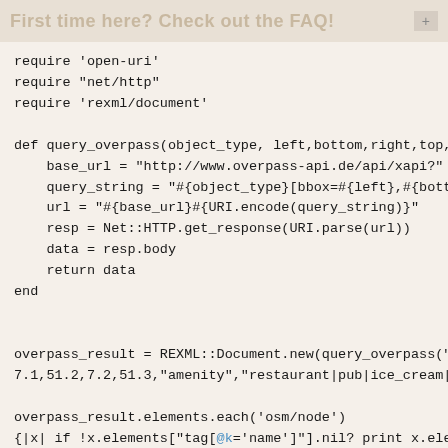First time here? Check out the FAQ!
require 'open-uri'
require "net/http"
require 'rexml/document'

def query_overpass(object_type, left,bottom,right,top, ke
    base_url = "http://www.overpass-api.de/api/xapi?"
    query_string = "#{object_type}[bbox=#{left},#{bottom},#
    url = "#{base_url}#{URI.encode(query_string)}"
    resp = Net::HTTP.get_response(URI.parse(url))
    data = resp.body
    return data
end


overpass_result = REXML::Document.new(query_overpass("nod
7.1,51.2,7.2,51.3,"amenity","restaurant|pub|ice_cream|food_cou

overpass_result.elements.each('osm/node')
{|x| if !x.elements["tag[@k='name']"].nil? print x.elements["tag[@

    if !x.elements["tag[@k='addr:postcode']"].nil?